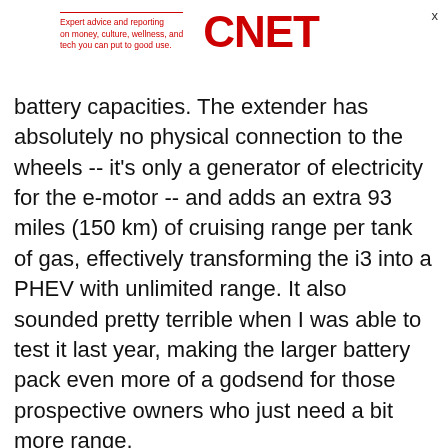Expert advice and reporting on money, culture, wellness, and tech you can put to good use. CNET
battery capacities. The extender has absolutely no physical connection to the wheels -- it's only a generator of electricity for the e-motor -- and adds an extra 93 miles (150 km) of cruising range per tank of gas, effectively transforming the i3 into a PHEV with unlimited range. It also sounded pretty terrible when I was able to test it last year, making the larger battery pack even more of a godsend for those prospective owners who just need a bit more range.
I wasn't able to test a range extender model during my short leg behind the wheel of the